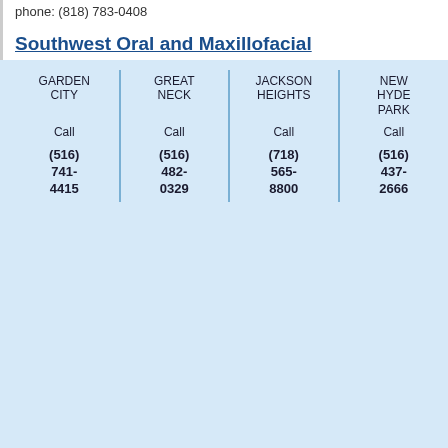phone: (818) 783-0408
Southwest Oral and Maxillofacial Surgeons
| GARDEN CITY | GREAT NECK | JACKSON HEIGHTS | NEW HYDE PARK |
| --- | --- | --- | --- |
| Call | Call | Call | Call |
| (516) 741-4415 | (516) 482-0329 | (718) 565-8800 | (516) 437-2666 |
phone: (704) 662-0021
Bagley Dental
4904 Convention Drive Pasco WA 99301-9023
phone: (509) 547-1631
Clackamas Implant & Oral Surgery